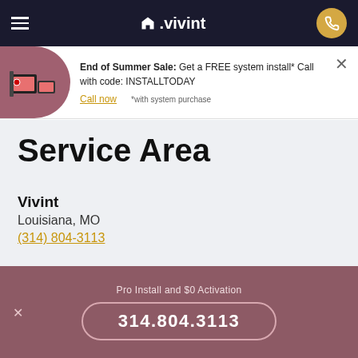Vivint navigation bar with hamburger menu, logo, and phone button
End of Summer Sale: Get a FREE system install* Call with code: INSTALLTODAY
Call now   *with system purchase
Service Area
Vivint
Louisiana, MO
(314) 804-3113
Pro Install and $0 Activation
314.804.3113